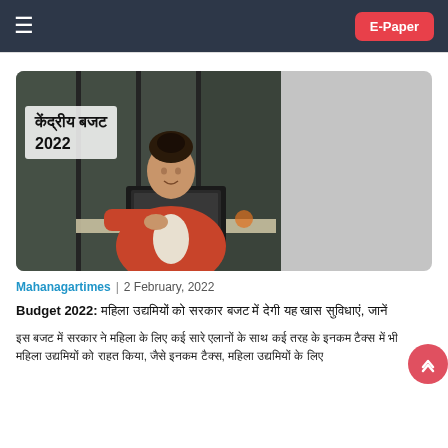≡  E-Paper
[Figure (photo): Woman in red blazer working on a laptop at an outdoor cafe table, with Hindi text overlay reading 'केंद्रीय बजट 2022' on semi-transparent white background]
Mahanagartimes  |  2 February, 2022
Budget 2022: [Hindi text about budget announcement]
[Hindi body text about the budget]